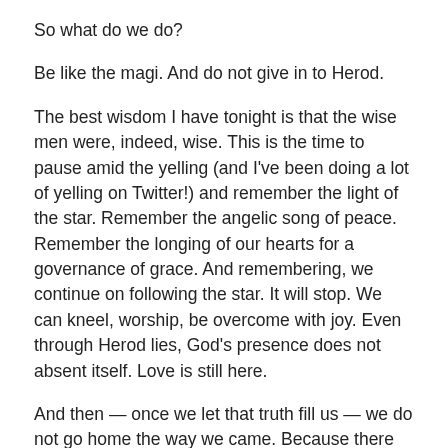So what do we do?
Be like the magi. And do not give in to Herod.
The best wisdom I have tonight is that the wise men were, indeed, wise. This is the time to pause amid the yelling (and I've been doing a lot of yelling on Twitter!) and remember the light of the star. Remember the angelic song of peace. Remember the longing of our hearts for a governance of grace. And remembering, we continue on following the star. It will stop. We can kneel, worship, be overcome with joy. Even through Herod lies, God's presence does not absent itself. Love is still here.
And then — once we let that truth fill us — we do not go home the way we came. Because there will always be some Herod whose fear leads to violence and death. We will leave this Epiphany by another road.
I don't know where that other road will take us. But we can't